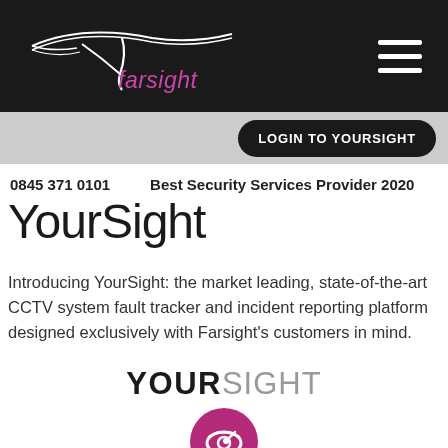Farsight logo and navigation header
LOGIN TO YOURSIGHT
0845 371 0101   Best Security Services Provider 2020
YourSight
Introducing YourSight: the market leading, state-of-the-art CCTV system fault tracker and incident reporting platform designed exclusively with Farsight's customers in mind.
[Figure (logo): YOURSIGHT logo text with bold YOUR and light SIGHT, followed by circular icon with eye/magnifier graphic]